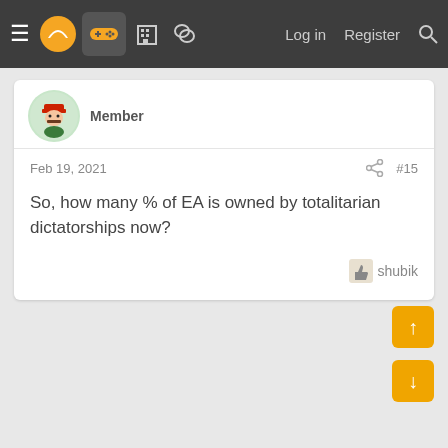≡  [logo]  [gamepad icon]  [building icon]  [chat icon]    Log in   Register  [search]
Member
Feb 19, 2021
#15
So, how many % of EA is owned by totalitarian dictatorships now?
shubik